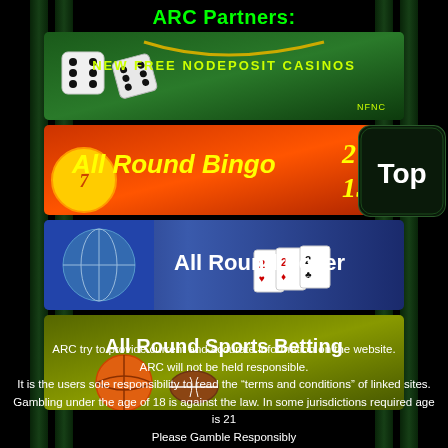ARC Partners:
[Figure (illustration): Banner for New Free No Deposit Casinos (NFNC) showing dice on dark green background]
[Figure (illustration): All Round Bingo banner with yellow text on red/orange background with bingo numbers 2, 7, 15]
[Figure (illustration): Top button - dark green rounded rectangle with white text 'Top']
[Figure (illustration): All Round Poker banner with white text on blue background with globe and playing cards]
[Figure (illustration): All Round Sports Betting banner on yellow-green background with sports balls]
ARC try to provide current and accurate information on the website.
ARC will not be held responsible.
It is the users sole responsibility to read the “terms and conditions” of linked sites.
Gambling under the age of 18 is against the law. In some jurisdictions required age is 21
Please Gamble Responsibly